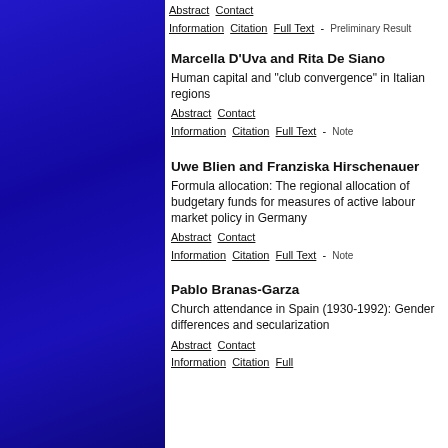Abstract  Contact Information  Citation  Full Text - Preliminary Result
Feb 07 2007
Marcella D'Uva and Rita De Siano
Human capital and "club convergence" in Italian regions
Abstract  Contact Information  Citation  Full Text - Note
Dec 10 2006
Uwe Blien and Franziska Hirschenauer
Formula allocation: The regional allocation of budgetary funds for measures of active labour market policy in Germany
Abstract  Contact Information  Citation  Full Text - Note
Feb 06 2004
Pablo Branas-Garza
Church attendance in Spain (1930-1992): Gender differences and secularization
Abstract  Contact Information  Citation  Full